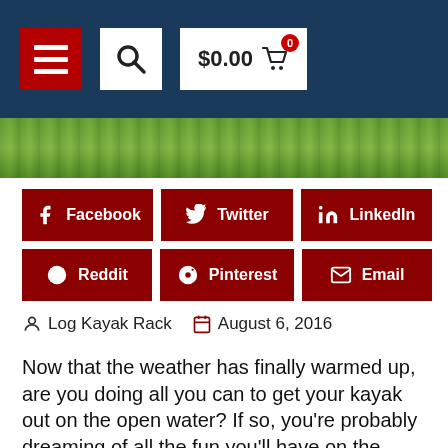[Figure (screenshot): Website header bar with dark blue background, containing a red hamburger menu button, a white search button with magnifying glass icon, and a white cart button showing $0.00 with a red badge showing 0]
[Figure (photo): Partial view of green grass and plants, a hero/banner image]
Facebook  Twitter  LinkedIn  Reddit  Pinterest  Email
Log Kayak Rack    August 6, 2016
Now that the weather has finally warmed up, are you doing all you can to get your kayak out on the open water? If so, you're probably dreaming of all the fun you'll have on the water, but not thinking about how you'll store your kayak once your time in the water is done. Many people simply drag their kayaks onto the